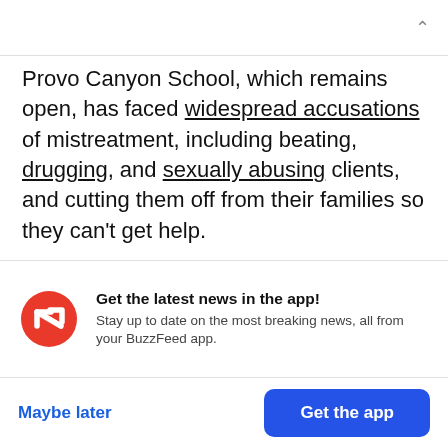Provo Canyon School, which remains open, has faced widespread accusations of mistreatment, including beating, drugging, and sexually abusing clients, and cutting them off from their families so they can't get help.
Hilton broke her silence about the trauma she experienced in her documentary This Is Paris, and
[Figure (logo): BuzzFeed app notification banner with red circular BuzzFeed logo (white arrow up-right), bold text 'Get the latest news in the app!' and subtext 'Stay up to date on the most breaking news, all from your BuzzFeed app.']
Maybe later
Get the app